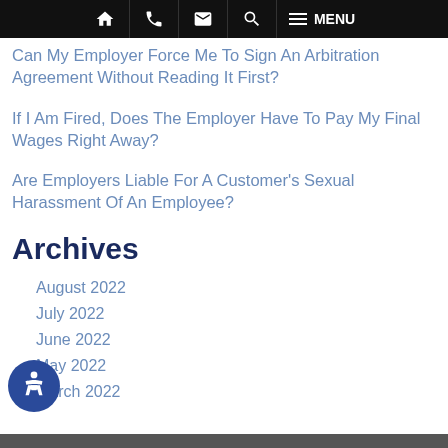Navigation bar with home, phone, email, search, and menu icons
Can My Employer Force Me To Sign An Arbitration Agreement Without Reading It First?
If I Am Fired, Does The Employer Have To Pay My Final Wages Right Away?
Are Employers Liable For A Customer's Sexual Harassment Of An Employee?
Archives
August 2022
July 2022
June 2022
May 2022
March 2022